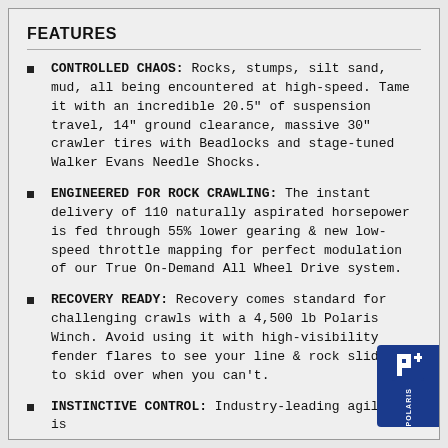FEATURES
CONTROLLED CHAOS: Rocks, stumps, silt sand, mud, all being encountered at high-speed. Tame it with an incredible 20.5" of suspension travel, 14" ground clearance, massive 30" crawler tires with Beadlocks and stage-tuned Walker Evans Needle Shocks.
ENGINEERED FOR ROCK CRAWLING: The instant delivery of 110 naturally aspirated horsepower is fed through 55% lower gearing & new low-speed throttle mapping for perfect modulation of our True On-Demand All Wheel Drive system.
RECOVERY READY: Recovery comes standard for challenging crawls with a 4,500 lb Polaris Winch. Avoid using it with high-visibility fender flares to see your line & rock sliders to skid over when you can't.
INSTINCTIVE CONTROL: Industry-leading agility is